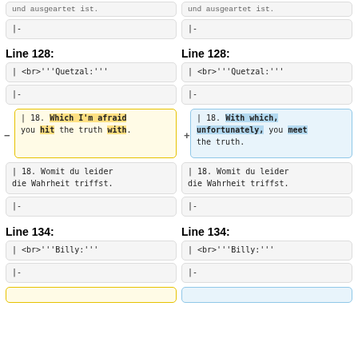| -
| -
Line 128:
Line 128:
| <br>'''Quetzal:'''
| <br>'''Quetzal:'''
| -
| -
| 18. Which I'm afraid you hit the truth with.
| 18. With which, unfortunately, you meet the truth.
| 18. Womit du leider die Wahrheit triffst.
| 18. Womit du leider die Wahrheit triffst.
| -
| -
Line 134:
Line 134:
| <br>'''Billy:'''
| <br>'''Billy:'''
| -
| -